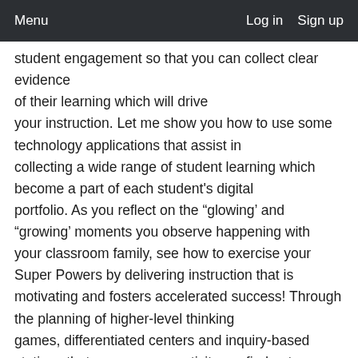Menu  Log in  Sign up
student engagement so that you can collect clear evidence of their learning which will drive your instruction. Let me show you how to use some technology applications that assist in collecting a wide range of student learning which become a part of each student's digital portfolio. As you reflect on the “glowing’ and “growing’ moments you observe happening with your classroom family, see how to exercise your Super Powers by delivering instruction that is motivating and fosters accelerated success! Through the planning of higher-level thinking games, differentiated centers and inquiry-based stations that encourage creativity . . . find out how children can demonstrate their application of what is being taught by engaging in structured play, Learning Labs, and a variety of creative